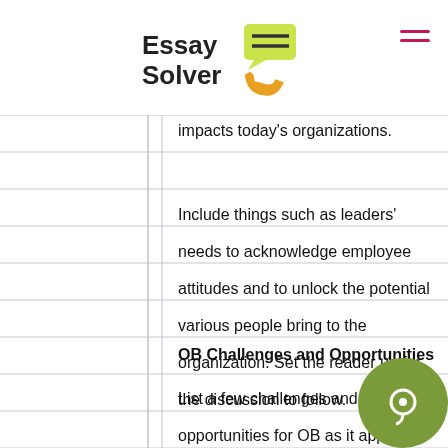Essay Solver
impacts today's organizations.
Include things such as leaders' needs to acknowledge employee attitudes and to unlock the potential various people bring to the organization. Set the reader up for the discussion to follow.
OB Challenges and Opportunities
List a few challenges and opportunities for OB as it applies to today's organizations, particularly with leaders...